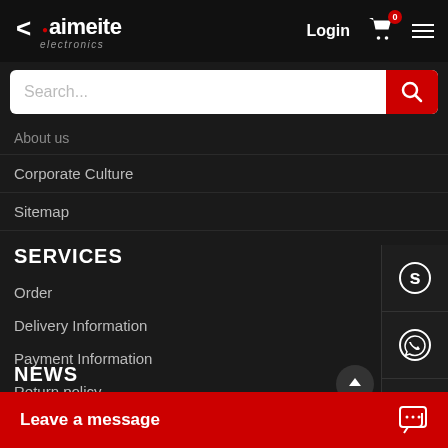[Figure (logo): Kaimeite electronics logo - white text with red dot and left arrow symbol on black background]
Login
[Figure (infographic): Shopping cart icon with red badge showing 0]
[Figure (infographic): Hamburger menu icon]
[Figure (screenshot): Search input bar with red search button]
About us
Corporate Culture
Sitemap
SERVICES
Order
Delivery Information
Payment Information
Return policy
NEWS
[Figure (infographic): Right side panel with Skype, WhatsApp, phone, and email icons]
Leave a message